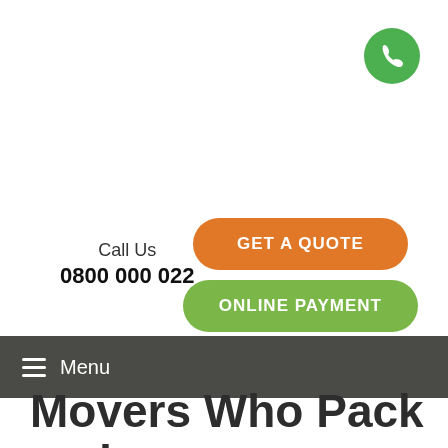[Figure (illustration): Green circular phone button icon in top-right corner]
Call Us
0800 000 022
GET A QUOTE
ONLINE PAYMENT
≡ Menu
Movers Who Pack and